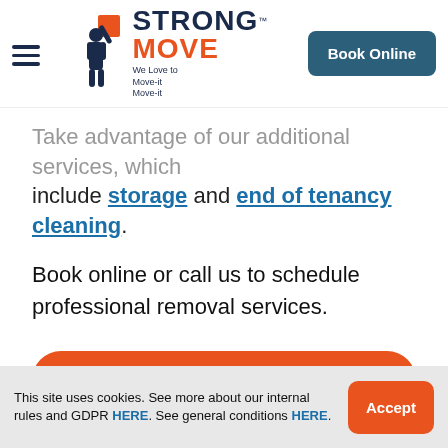Strong Move — We Love to Move-it Move-it | Book Online
Take advantage of our additional services, which include storage and end of tenancy cleaning.
Book online or call us to schedule professional removal services.
CALL NOW
GET A FREE QUOTE
This site uses cookies. See more about our internal rules and GDPR HERE. See general conditions HERE.